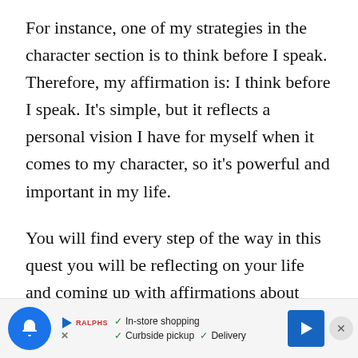For instance, one of my strategies in the character section is to think before I speak. Therefore, my affirmation is: I think before I speak. It's simple, but it reflects a personal vision I have for myself when it comes to my character, so it's powerful and important in my life.
You will find every step of the way in this quest you will be reflecting on your life and coming up with affirmations about who you are, who you want to be, and what you want.